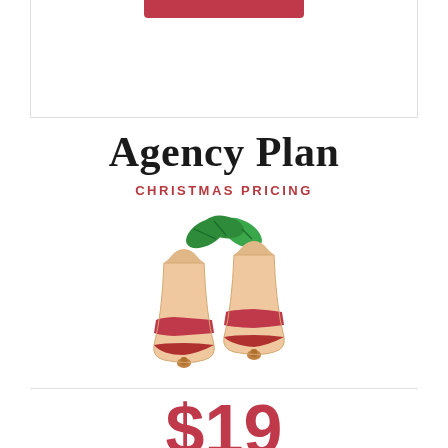Agency Plan
CHRISTMAS PRICING
[Figure (illustration): Two Christmas bells with red stripe bands and green holly leaves on top]
$19